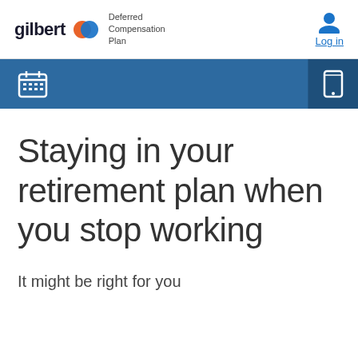[Figure (logo): Gilbert Deferred Compensation Plan logo with orange and blue circular icon, and Log in button with person icon]
[Figure (screenshot): Navigation bar with calendar icon on blue background and mobile phone icon on darker blue background]
Staying in your retirement plan when you stop working
It might be right for you